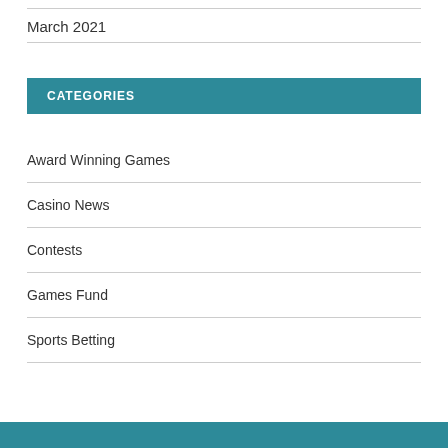March 2021
CATEGORIES
Award Winning Games
Casino News
Contests
Games Fund
Sports Betting